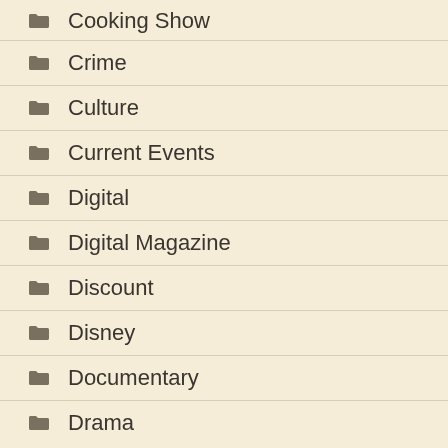Cooking Show
Crime
Culture
Current Events
Digital
Digital Magazine
Discount
Disney
Documentary
Drama